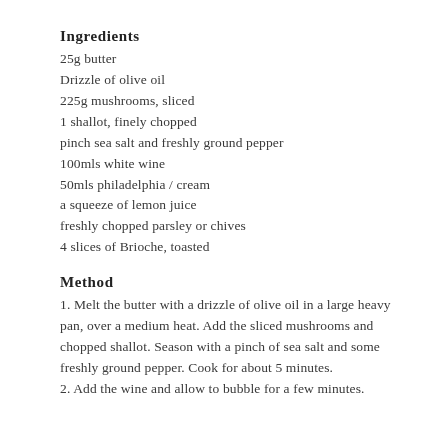Ingredients
25g butter
Drizzle of olive oil
225g mushrooms, sliced
1 shallot, finely chopped
pinch sea salt and freshly ground pepper
100mls white wine
50mls philadelphia / cream
a squeeze of lemon juice
freshly chopped parsley or chives
4 slices of Brioche, toasted
Method
1. Melt the butter with a drizzle of olive oil in a large heavy pan, over a medium heat. Add the sliced mushrooms and chopped shallot. Season with a pinch of sea salt and some freshly ground pepper. Cook for about 5 minutes.
2. Add the wine and allow to bubble for a few minutes.